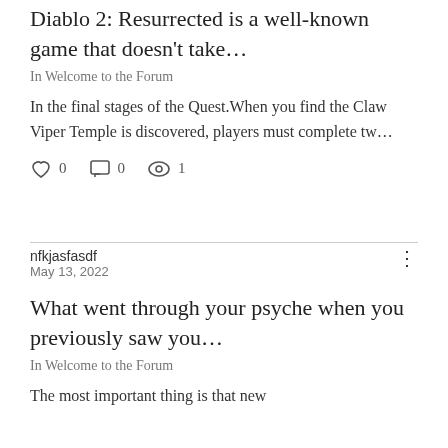Diablo 2: Resurrected is a well-known game that doesn't take…
In Welcome to the Forum
In the final stages of the Quest.When you find the Claw Viper Temple is discovered, players must complete tw…
0  0  1
nfkjasfasdf
May 13, 2022
What went through your psyche when you previously saw you…
In Welcome to the Forum
The most important thing is that new…